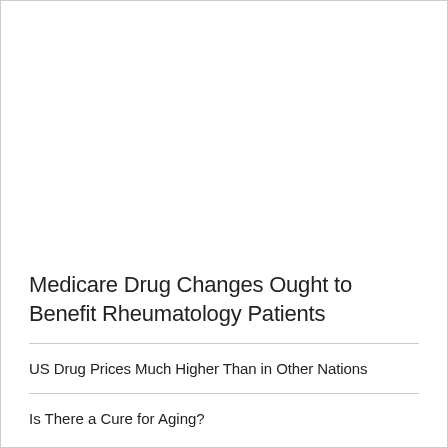Medicare Drug Changes Ought to Benefit Rheumatology Patients
US Drug Prices Much Higher Than in Other Nations
Is There a Cure for Aging?